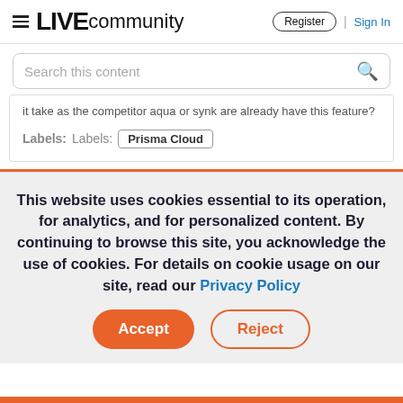LIVE community — Register | Sign In
Search this content
it take as the competitor aqua or synk are already have this feature?
Labels: Labels: Prisma Cloud
This website uses cookies essential to its operation, for analytics, and for personalized content. By continuing to browse this site, you acknowledge the use of cookies. For details on cookie usage on our site, read our Privacy Policy